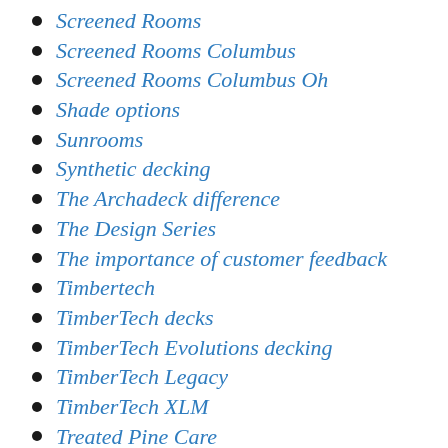Screened Rooms
Screened Rooms Columbus
Screened Rooms Columbus Oh
Shade options
Sunrooms
Synthetic decking
The Archadeck difference
The Design Series
The importance of customer feedback
Timbertech
TimberTech decks
TimberTech Evolutions decking
TimberTech Legacy
TimberTech XLM
Treated Pine Care
Uncategorized